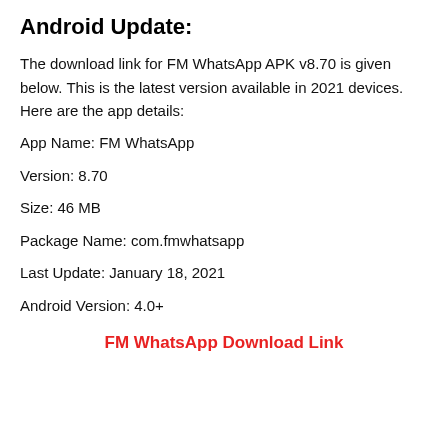Android Update:
The download link for FM WhatsApp APK v8.70 is given below. This is the latest version available in 2021 devices. Here are the app details:
App Name: FM WhatsApp
Version: 8.70
Size: 46 MB
Package Name: com.fmwhatsapp
Last Update: January 18, 2021
Android Version: 4.0+
FM WhatsApp Download Link